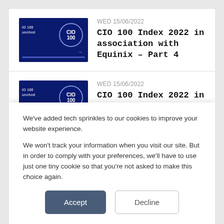WED 15/06/2022 — CIO 100 Index 2022 in association with Equinix – Part 4
WED 15/06/2022 — CIO 100 Index 2022 in association with Equinix – Part 3
WED 15/06/2022 — CIO 100 Index 2022 in association with ... (partial, clipped)
We've added tech sprinkles to our cookies to improve your website experience.

We won't track your information when you visit our site. But in order to comply with your preferences, we'll have to use just one tiny cookie so that you're not asked to make this choice again.